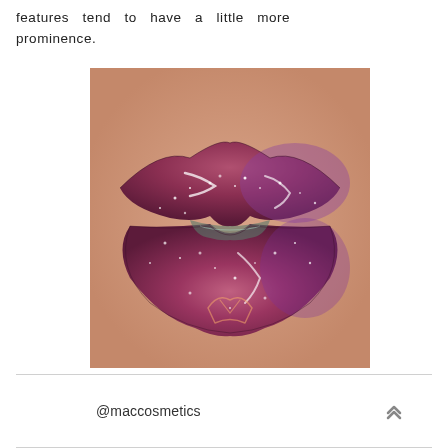features tend to have a little more prominence.
[Figure (photo): Close-up photograph of lips covered in glittery dark pink/mauve lipstick with white shimmer highlights and a MAC Cosmetics logo visible on the lower lip.]
@maccosmetics